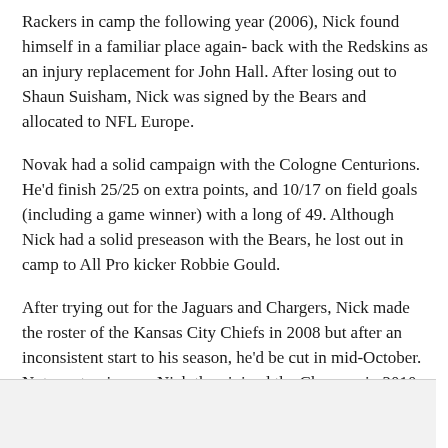Rackers in camp the following year (2006), Nick found himself in a familiar place again- back with the Redskins as an injury replacement for John Hall. After losing out to Shaun Suisham, Nick was signed by the Bears and allocated to NFL Europe.
Novak had a solid campaign with the Cologne Centurions. He'd finish 25/25 on extra points, and 10/17 on field goals (including a game winner) with a long of 49. Although Nick had a solid preseason with the Bears, he lost out in camp to All Pro kicker Robbie Gould.
After trying out for the Jaguars and Chargers, Nick made the roster of the Kansas City Chiefs in 2008 but after an inconsistent start to his season, he'd be cut in mid-October. Not one to give up, Nick then joined the Chargers in 2010 but he'd again lose out, this time to incumbent Nate Kaeding.